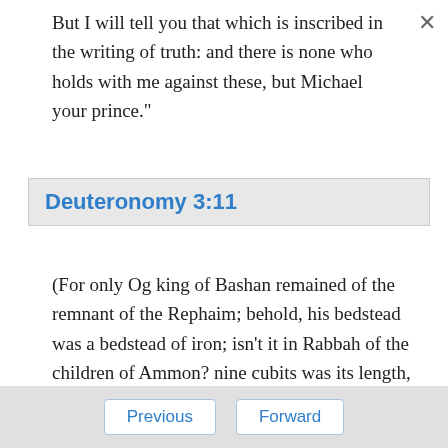But I will tell you that which is inscribed in the writing of truth: and there is none who holds with me against these, but Michael your prince."
Deuteronomy 3:11
(For only Og king of Bashan remained of the remnant of the Rephaim; behold, his bedstead was a bedstead of iron; isn't it in Rabbah of the children of Ammon? nine cubits was its length, and four cubits its breadth, after the cubit of a man.)
Previous  Forward